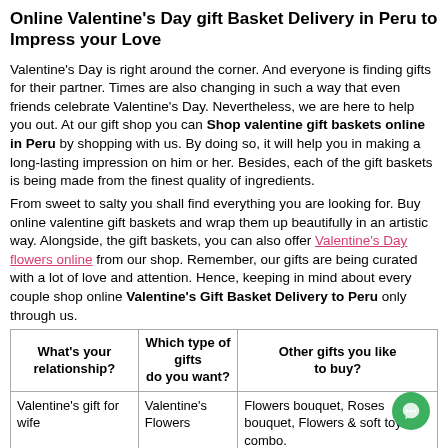Online Valentine's Day gift Basket Delivery in Peru to Impress your Love
Valentine's Day is right around the corner. And everyone is finding gifts for their partner. Times are also changing in such a way that even friends celebrate Valentine's Day. Nevertheless, we are here to help you out. At our gift shop you can Shop valentine gift baskets online in Peru by shopping with us. By doing so, it will help you in making a long-lasting impression on him or her. Besides, each of the gift baskets is being made from the finest quality of ingredients.
From sweet to salty you shall find everything you are looking for. Buy online valentine gift baskets and wrap them up beautifully in an artistic way. Alongside, the gift baskets, you can also offer Valentine's Day flowers online from our shop. Remember, our gifts are being curated with a lot of love and attention. Hence, keeping in mind about every couple shop online Valentine's Gift Basket Delivery to Peru only through us.
| What's your relationship? | Which type of gifts do you want? | Other gifts you like to buy? |
| --- | --- | --- |
| Valentine's gift for wife | Valentine's Flowers | Flowers bouquet, Roses bouquet, Flowers & soft toys combo. |
| Valentine's gift for husband | Wine Gifts | Wine gift basket & glass set, Wine & flowers combo. |